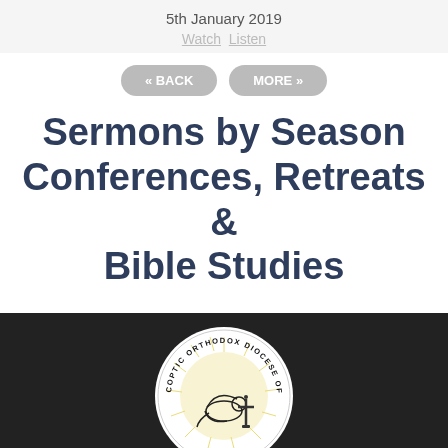5th January 2019
Watch   Listen
« BACK   MORE »
Sermons by Season Conferences, Retreats & Bible Studies
[Figure (logo): Coptic Orthodox Diocese of the Midlands UK circular logo with dove and cross imagery]
[Figure (other): Social media icon buttons row at bottom]